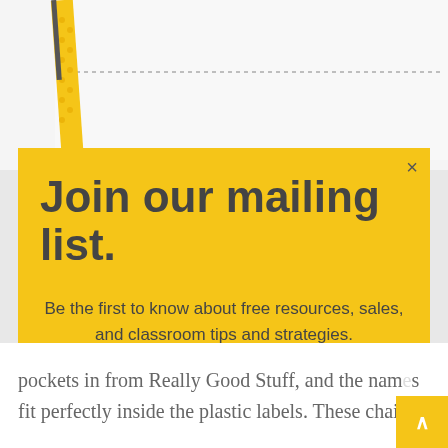[Figure (screenshot): Background showing a white card with dashed line and a yellow decorative tab/bookmark on the left side with hexagonal pattern]
Join our mailing list.
Be the first to know about free resources, sales, and classroom tips and strategies.
Email address
Subscribe
pockets in from Really Good Stuff, and the names fit perfectly inside the plastic labels.  These chair